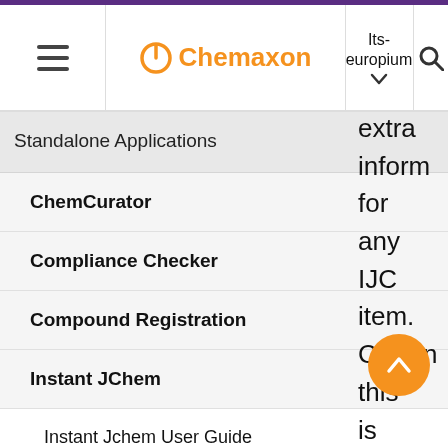Chemaxon | Its-europium
Standalone Applications
ChemCurator
Compliance Checker
Compound Registration
Instant JChem
Instant Jchem User Guide
Instant JChem Administrator Gui...
Admin Tool
IJC Deployment Guide
extra information for any IJC item. Currently this is not used. If you are